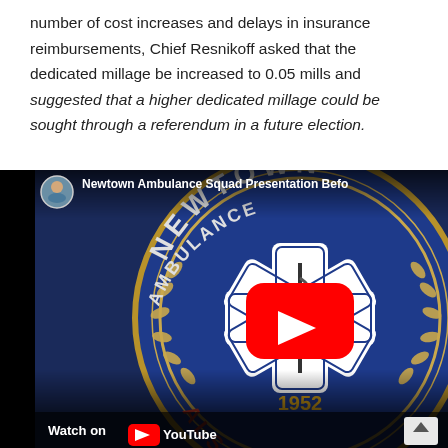number of cost increases and delays in insurance reimbursements, Chief Resnikoff asked that the dedicated millage be increased to 0.05 mills and suggested that a higher dedicated millage could be sought through a referendum in a future election.
[Figure (screenshot): YouTube video thumbnail showing Newtown Ambulance Squad Presentation Before [board/council]. Thumbnail shows the Newtown Ambulance Squad circular emblem/logo on a blue background with gold laurel wreath and Star of Life symbol, year 1952. YouTube play button overlay in center. Top bar shows presenter avatar and video title. Bottom bar shows 'Watch on YouTube' with up-arrow button.]